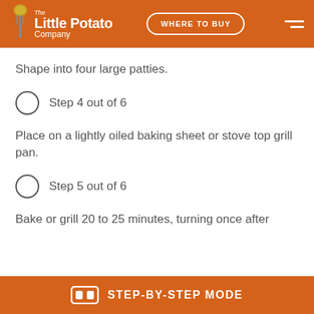The Little Potato Company — WHERE TO BUY
Shape into four large patties.
Step 4 out of 6
Place on a lightly oiled baking sheet or stove top grill pan.
Step 5 out of 6
Bake or grill 20 to 25 minutes, turning once after
STEP-BY-STEP MODE